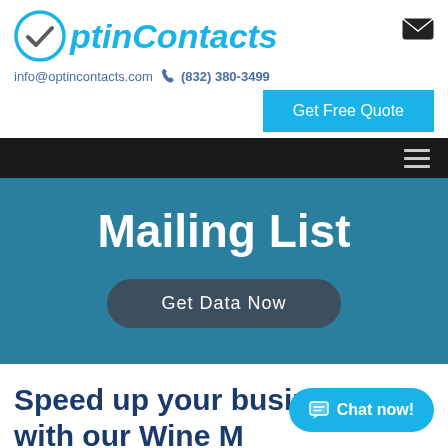[Figure (logo): OptinContacts logo with blue circular checkmark icon and italic bold blue text 'OptinContacts']
[Figure (other): Black envelope/mail icon in top right]
info@optincontacts.com  (832) 380-3499
Get Free Quote
[Figure (other): Dark navigation bar with hamburger menu icon on right]
Mailing List
Get Data Now
Speed up your business with our Wine M
[Figure (other): Blue chat bubble button with 'Chat now!' text]